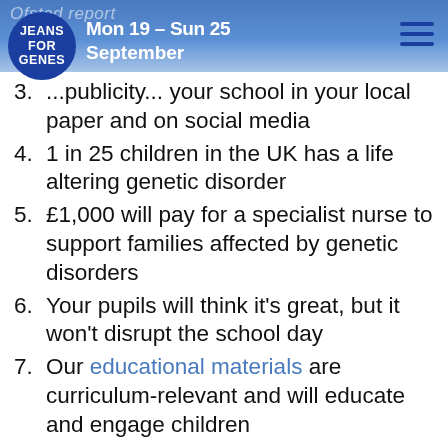Ofsted report | Mon 19 - Sun 25 September | Jeans for Genes logo | hamburger menu
3. [partially visible] ...publicity... your school in your [local paper and on social media]
4. 1 in 25 children in the UK has a life altering genetic disorder
5. £1,000 will pay for a specialist nurse to support families affected by genetic disorders
6. Your pupils will think it’s great, but it won’t disrupt the school day
7. Our educational materials are curriculum-relevant and will educate and engage children
8. Jeans for Genes Day encourages understanding and acceptance of the difference between us, and the jeans your pupils wear are a reminder of the genes they are raising money for!